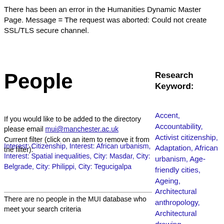There has been an error in the Humanities Dynamic Master Page. Message = The request was aborted: Could not create SSL/TLS secure channel.
People
Research Keyword:
If you would like to be added to the directory please email mui@manchester.ac.uk
Current filter (click on an item to remove it from the filter):
Interest: Citizenship, Interest: African urbanism, Interest: Spatial inequalities, City: Masdar, City: Belgrade, City: Philippi, City: Tegucigalpa
There are no people in the MUI database who meet your search criteria
Accent, Accountability, Activist citizenship, Adaptation, African urbanism, Age-friendly cities, Ageing, Architectural anthropology, Architectural drawing, Architectural ethnography, Architecture, Art, Aspiration, Atmosphere, Austerity,